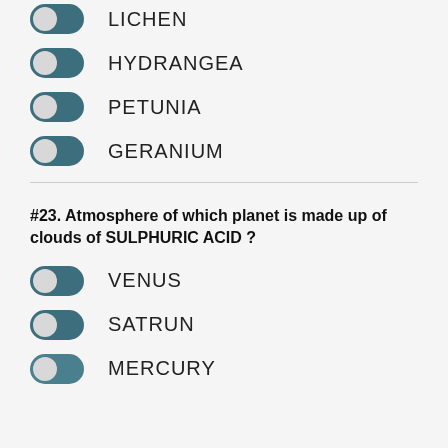LICHEN
HYDRANGEA
PETUNIA
GERANIUM
#23. Atmosphere of which planet is made up of clouds of SULPHURIC ACID ?
VENUS
SATRUN
MERCURY